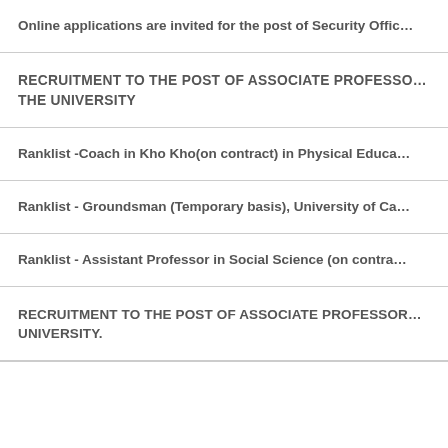Online applications are invited for the post of Security Offic…
RECRUITMENT TO THE POST OF ASSOCIATE PROFESSO… THE UNIVERSITY
Ranklist -Coach in Kho Kho(on contract) in Physical Educa…
Ranklist - Groundsman (Temporary basis), University of Ca…
Ranklist - Assistant Professor in Social Science (on contra…
RECRUITMENT TO THE POST OF ASSOCIATE PROFESSOR… UNIVERSITY.